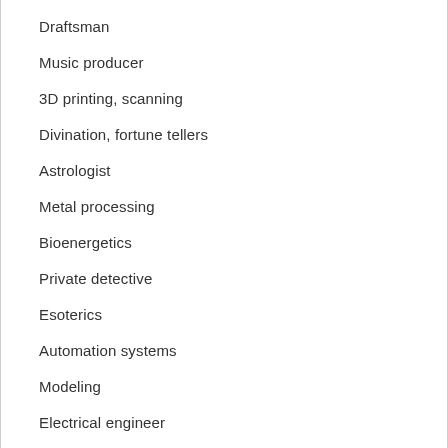Draftsman
Music producer
3D printing, scanning
Divination, fortune tellers
Astrologist
Metal processing
Bioenergetics
Private detective
Esoterics
Automation systems
Modeling
Electrical engineer